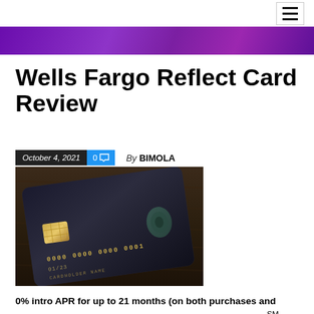Wells Fargo Reflect Card Review
October 4, 2021   0   By BIMOLA
[Figure (photo): A dark credit card on a wooden surface showing card number 0000 0000 0000 0001, expiry 01/23, cardholder name, chip, and contactless symbol]
0% intro APR for up to 21 months (on both purchases and balance transfers) – This is where The Wells Fargo Reflect℠